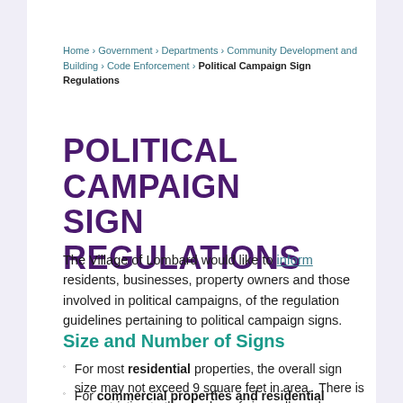Home › Government › Departments › Community Development and Building › Code Enforcement › Political Campaign Sign Regulations
POLITICAL CAMPAIGN SIGN REGULATIONS
The Village of Lombard would like to inform residents, businesses, property owners and those involved in political campaigns, of the regulation guidelines pertaining to political campaign signs.
Size and Number of Signs
For most residential properties, the overall sign size may not exceed 9 square feet in area.  There is no restriction to the number of signs allowed.
For commercial properties and residential